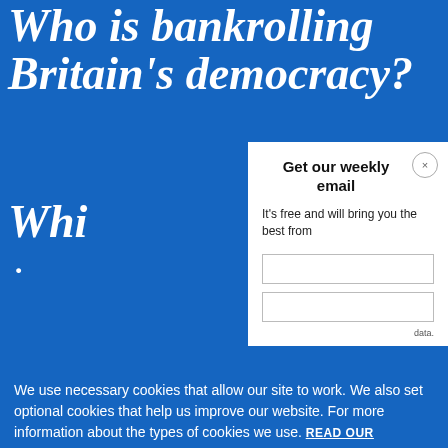Who is bankrolling Britain's democracy? Whi...
[Figure (screenshot): Email signup popup modal with heading 'Get our weekly email', subtext 'It's free and will bring you the best from', input fields, close button, and blue bar at bottom]
We use necessary cookies that allow our site to work. We also set optional cookies that help us improve our website. For more information about the types of cookies we use. READ OUR COOKIES POLICY HERE
data.
COOKIE SETTINGS
ALLOW ALL COOKIES